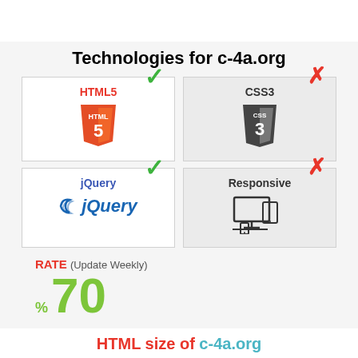Technologies for c-4a.org
[Figure (infographic): Four technology cards in a 2x2 grid. HTML5 (checked/green tick), CSS3 (red cross), jQuery (green tick), Responsive (red cross).]
RATE (Update Weekly)
% 70
HTML size of c-4a.org